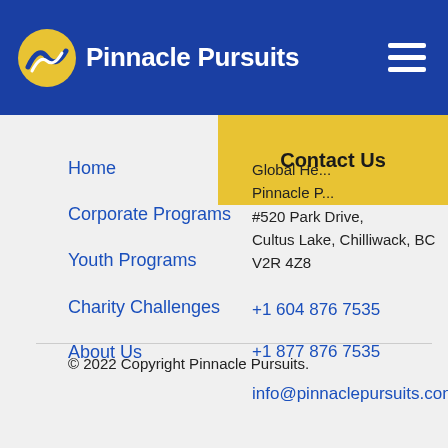Pinnacle Pursuits
Home
Corporate Programs
Youth Programs
Charity Challenges
About Us
Contact Us
Global He...
Pinnacle P...
#520 Park Drive,
Cultus Lake, Chilliwack, BC
V2R 4Z8
+1 604 876 7535
+1 877 876 7535
info@pinnaclepursuits.com
© 2022 Copyright Pinnacle Pursuits.